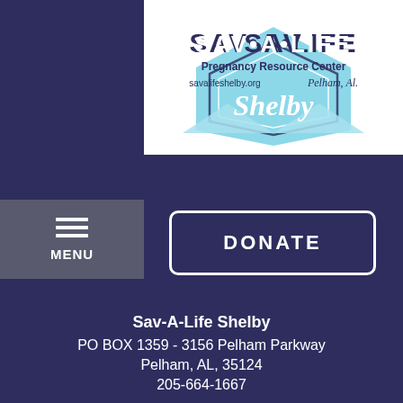[Figure (logo): SAV-A-LIFE Pregnancy Resource Center logo with blue geometric shapes, text 'savalifeshelby.org', 'Pelham, Al.' and 'Shelby' in cursive script on white background]
MENU
DONATE
Sav-A-Life Shelby
PO BOX 1359 - 3156 Pelham Parkway
Pelham, AL, 35124
205-664-1667